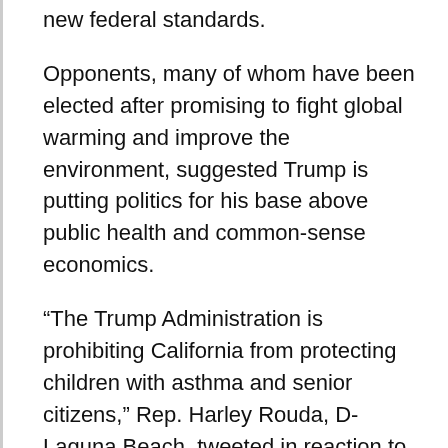new federal standards.
Opponents, many of whom have been elected after promising to fight global warming and improve the environment, suggested Trump is putting politics for his base above public health and common-sense economics.
“The Trump Administration is prohibiting California from protecting children with asthma and senior citizens,” Rep. Harley Rouda, D-Laguna Beach, tweeted in reaction to the news.
“This would be laughable, as it comes from the so-called party of ‘states’ rights,’ if it wasn’t going to kill our most vulnerable.”
Rep. Katie Hill, D-Agua Dulce, said there’s actually